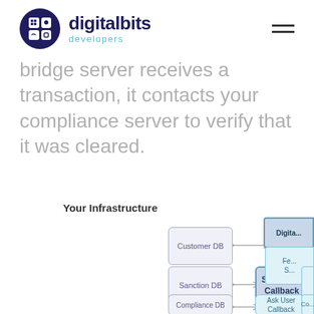digitalbits developers
bridge server receives a transaction, it contacts your compliance server to verify that it was cleared.
Your Infrastructure
[Figure (flowchart): Infrastructure diagram showing Customer DB, Sanction DB, Compliance DB connected to Sanctions Callback, Ask User Callback boxes, and partially visible DigitalBits and Federation Server boxes on the right edge.]